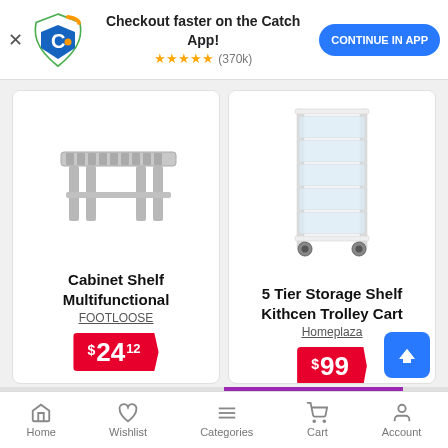Checkout faster on the Catch App! ★★★★★ (370k) CONTINUE IN APP
[Figure (screenshot): Cabinet Shelf Multifunctional product image - grey plastic bench/shelf]
Cabinet Shelf Multifunctional
FOOTLOOSE
$24.12
[Figure (screenshot): 5 Tier Storage Shelf Kitchen Trolley Cart - white plastic wheeled cart with drawers]
5 Tier Storage Shelf Kithcen Trolley Cart
Homeplaza
$99
Home  Wishlist  Categories  Cart  Account